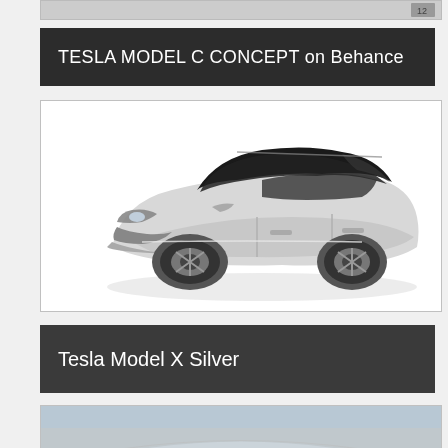[Figure (screenshot): Partial top strip of a previous image/screenshot with number 12 visible]
TESLA MODEL C CONCEPT on Behance
[Figure (photo): Silver Tesla Model C concept car render shown from a 3/4 front angle on white background, with black roof and dark windows]
Tesla Model X Silver
[Figure (photo): Partial bottom image showing a Tesla Model X Silver, cropped at bottom of page]